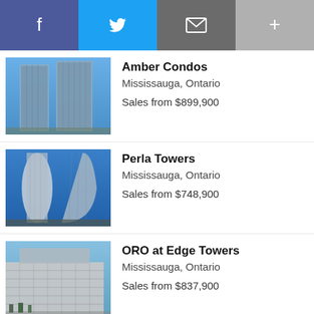[Figure (other): Social media share buttons bar: Facebook (purple), Twitter (blue), Mail (dark grey), More (light grey)]
[Figure (photo): Amber Condos building photo - tall glass residential towers against blue sky, Mississauga]
Amber Condos
Mississauga, Ontario
Sales from $899,900
[Figure (photo): Perla Towers building photo - two curved glass towers against blue sky, Mississauga]
Perla Towers
Mississauga, Ontario
Sales from $748,900
[Figure (photo): ORO at Edge Towers building photo - large modern building with street level view, Mississauga]
ORO at Edge Towers
Mississauga, Ontario
Sales from $837,900
[Figure (photo): Artform Condos building photo - partial view, Mississauga]
Artform Condos